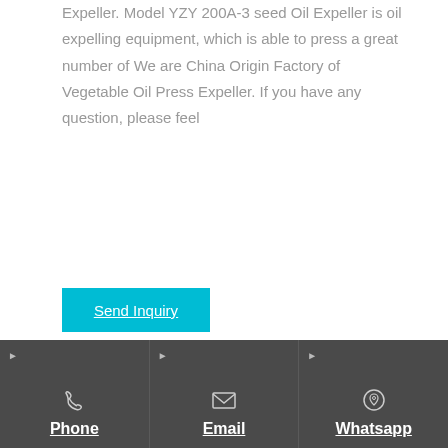Expeller. Model YZY 200A-3 seed Oil Expeller is oil expelling equipment, which is able to press a great number of We are China Origin Factory of Vegetable Oil Press Expeller. If you have any question, please feel
Send Inquiry
Phone
Email
Whatsapp